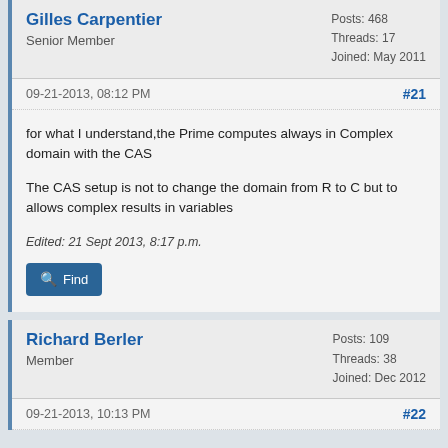Gilles Carpentier
Senior Member
Posts: 468
Threads: 17
Joined: May 2011
09-21-2013, 08:12 PM
#21
for what I understand,the Prime computes always in Complex domain with the CAS
The CAS setup is not to change the domain from R to C but to allows complex results in variables
Edited: 21 Sept 2013, 8:17 p.m.
Find
Richard Berler
Member
Posts: 109
Threads: 38
Joined: Dec 2012
09-21-2013, 10:13 PM
#22